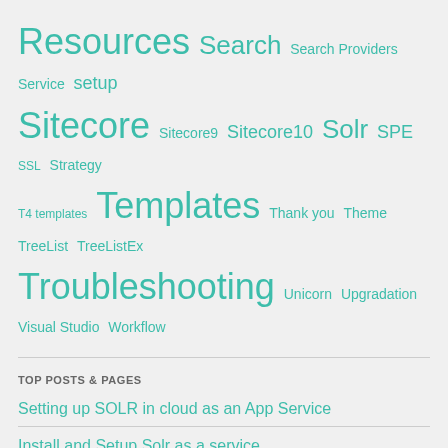[Figure (infographic): Tag cloud with teal-colored tags of varying sizes including Resources, Search, Search Providers, Service, setup, Sitecore, Sitecore9, Sitecore10, Solr, SPE, SSL, Strategy, T4 templates, Templates, Thank you, Theme, TreeList, TreeListEx, Troubleshooting, Unicorn, Upgradation, Visual Studio, Workflow]
TOP POSTS & PAGES
Setting up SOLR in cloud as an App Service
Install and Setup Solr as a service
Use PowerShell script to install SOLR